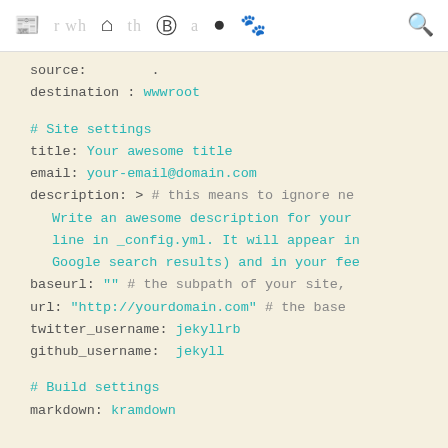navigation bar with icons: newspaper, home, shield, github, paw, search
source:        .
destination : wwwroot

# Site settings
title: Your awesome title
email: your-email@domain.com
description: > # this means to ignore ne
    Write an awesome description for your
    line in _config.yml. It will appear in
    Google search results) and in your fee
baseurl: "" # the subpath of your site,
url: "http://yourdomain.com" # the base
twitter_username: jekyllrb
github_username:  jekyll

# Build settings
markdown: kramdown